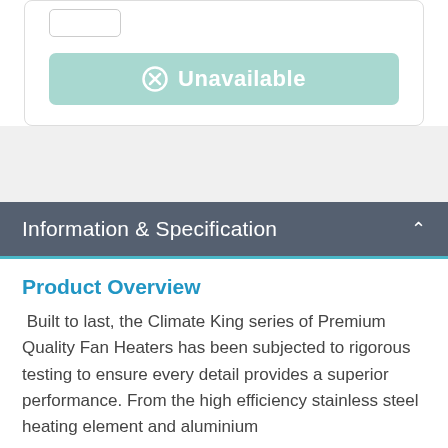[Figure (screenshot): Quantity input box (rounded rectangle outline)]
⊗ Unavailable
Information & Specification
Product Overview
Built to last, the Climate King series of Premium Quality Fan Heaters has been subjected to rigorous testing to ensure every detail provides a superior performance. From the high efficiency stainless steel heating element and aluminium